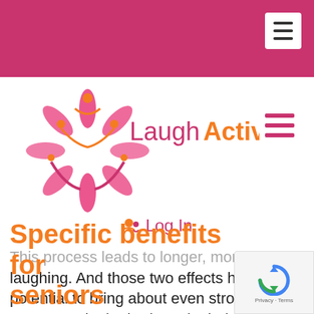[Figure (logo): LaughActive logo with stylized figures and star/sun shape in pink and orange colors, with text 'LaughActive']
Log In
This process leads to longer, more intense laughing. And those two effects have the potential to bring about even stronger responses in the body and mind.
Specific benefits for seniors